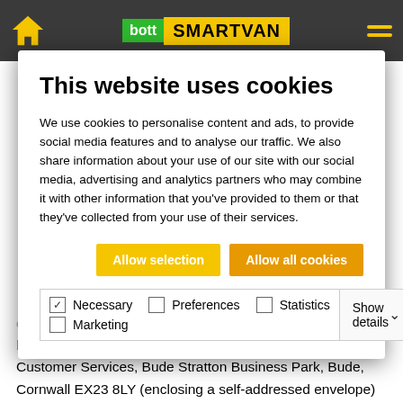bott SMARTVAN header navigation
This website uses cookies
We use cookies to personalise content and ads, to provide social media features and to analyse our traffic. We also share information about your use of our site with our social media, advertising and analytics partners who may combine it with other information that you've provided to them or that they've collected from your use of their services.
Allow selection | Allow all cookies
| Necessary | Preferences | Statistics | Show details |
| --- | --- | --- | --- |
| ✓ Necessary  ☐ Preferences  ☐ Statistics |  |  | Show details ∨ |
| ☐ Marketing |  |  |  |
bottsmartvan@bottltd.co.uk or writes to bott Smartvan Customer Services, Bude Stratton Business Park, Bude, Cornwall EX23 8LY (enclosing a self-addressed envelope) within [6 weeks] after the closing